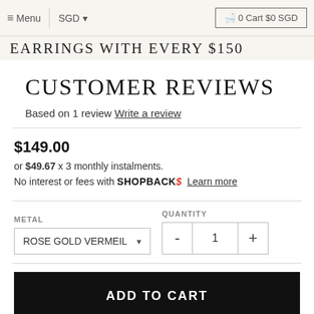Menu | SGD ▾   🛒 0 Cart $0 SGD
EARRINGS WITH EVERY $150
CUSTOMER REVIEWS
Based on 1 review Write a review
$149.00
or $49.67 x 3 monthly instalments.
No interest or fees with SHOPBACK$ Learn more
METAL: ROSE GOLD VERMEIL   QUANTITY: - 1 +
ADD TO CART